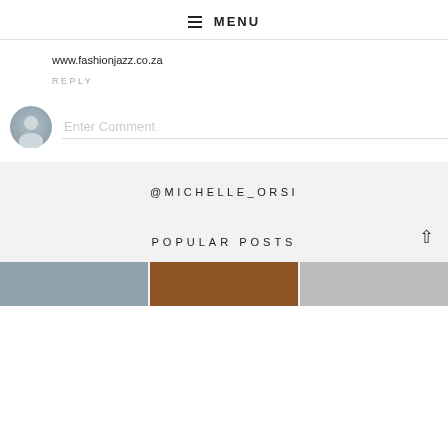≡ MENU
www.fashionjazz.co.za
REPLY
[Figure (other): User avatar icon (grey silhouette) with Enter Comment input field below]
@MICHELLE_ORSI
POPULAR POSTS
[Figure (photo): Three thumbnail images in a row at the bottom of the page]